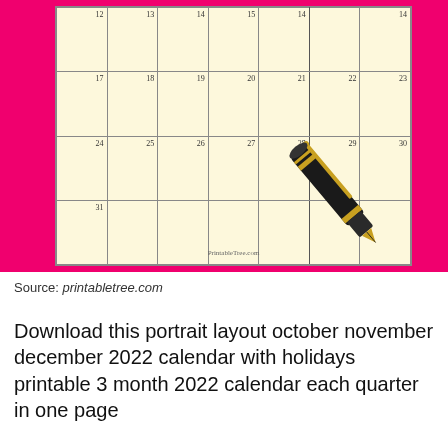[Figure (other): Partial view of a printable 2022 calendar on cream/yellow background with pink/magenta border, showing dates 17-30 in weekly rows, with a fountain pen overlaid in the bottom-right corner. Watermark text 'PrintableTree.com' at bottom center.]
Source: printabletree.com
Download this portrait layout october november december 2022 calendar with holidays printable 3 month 2022 calendar each quarter in one page